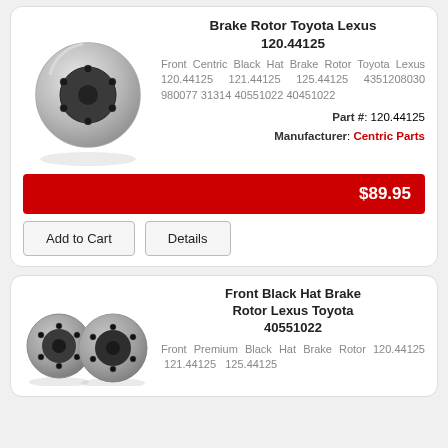Brake Rotor Toyota Lexus 120.44125
Front Centric Black Hat Brake Rotor Toyota Lexus 120.44125 121.44125 125.44125 4351208030 980077 31314 40551022 40451022
Part #: 120.44125
Manufacturer: Centric Parts
$89.95
Add to Cart
Details
Front Black Hat Brake Rotor Lexus Toyota 40551022
Front Premium Black Hat Brake Rotor 120.44125  121.44125  125.44125